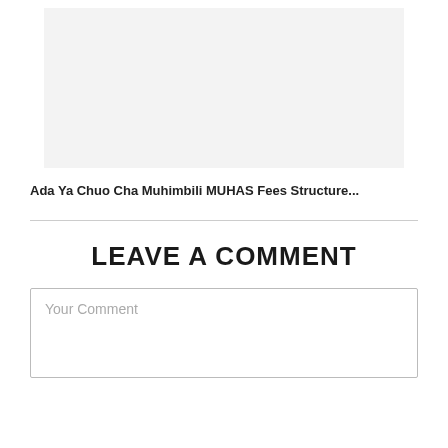[Figure (other): Gray placeholder image area]
Ada Ya Chuo Cha Muhimbili MUHAS Fees Structure...
LEAVE A COMMENT
Your Comment